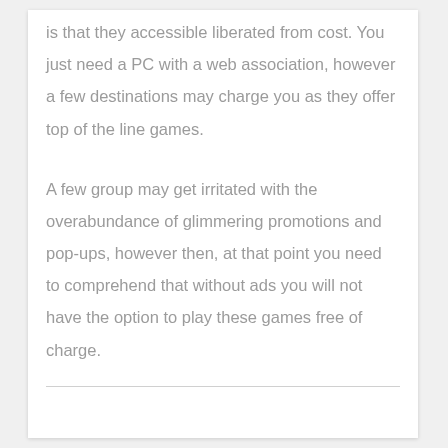is that they accessible liberated from cost. You just need a PC with a web association, however a few destinations may charge you as they offer top of the line games.
A few group may get irritated with the overabundance of glimmering promotions and pop-ups, however then, at that point you need to comprehend that without ads you will not have the option to play these games free of charge.